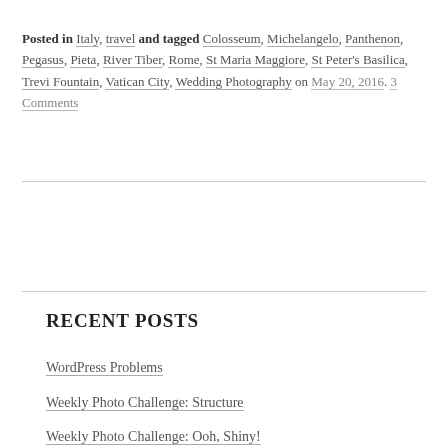Posted in Italy, travel and tagged Colosseum, Michelangelo, Panthenon, Pegasus, Pieta, River Tiber, Rome, St Maria Maggiore, St Peter's Basilica, Trevi Fountain, Vatican City, Wedding Photography on May 20, 2016. 3 Comments
RECENT POSTS
WordPress Problems
Weekly Photo Challenge: Structure
Weekly Photo Challenge: Ooh, Shiny!